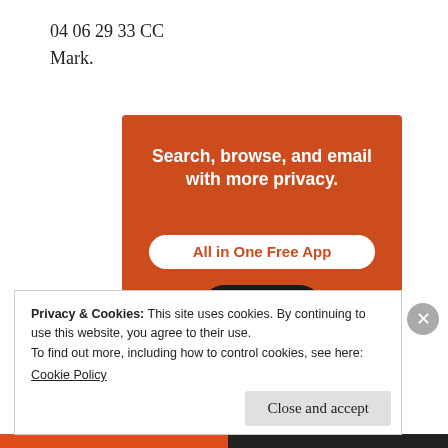04 06 29 33 CC
Mark.
[Figure (illustration): DuckDuckGo advertisement banner with orange background showing 'Search, browse, and email with more privacy. All in One Free App' text and a smartphone displaying the DuckDuckGo duck logo.]
Privacy & Cookies: This site uses cookies. By continuing to use this website, you agree to their use.
To find out more, including how to control cookies, see here:
Cookie Policy
Close and accept